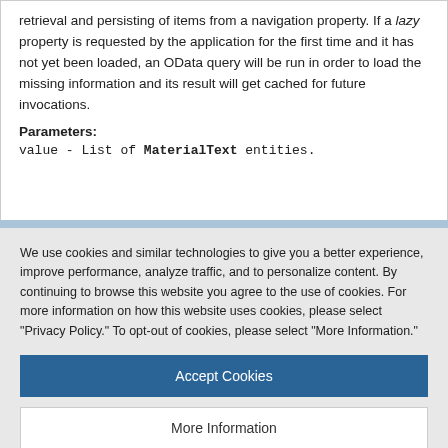retrieval and persisting of items from a navigation property. If a lazy property is requested by the application for the first time and it has not yet been loaded, an OData query will be run in order to load the missing information and its result will get cached for future invocations.
Parameters:
value - List of MaterialText entities.
We use cookies and similar technologies to give you a better experience, improve performance, analyze traffic, and to personalize content. By continuing to browse this website you agree to the use of cookies. For more information on how this website uses cookies, please select "Privacy Policy." To opt-out of cookies, please select "More Information."
Accept Cookies
More Information
Privacy Policy | Powered by: TrustArc
ODataException can be thrown in case of an OData query error.